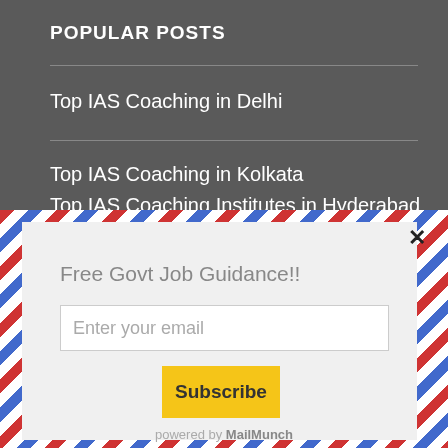POPULAR POSTS
Top IAS Coaching in Delhi
Top IAS Coaching in Kolkata
Top IAS Coaching Institutes in Hyderabad
Free Govt Job Guidance!!
Enter your email
Subscribe
powered by MailMunch